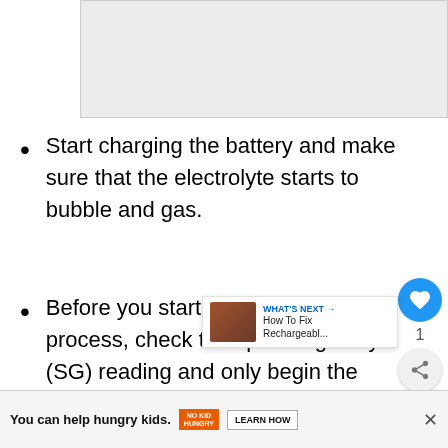[Figure (other): Gray placeholder image area at top of page]
Start charging the battery and make sure that the electrolyte starts to bubble and gas.
Before you start the equalization process, check the specific gravity (SG) reading and only begin the process if there is a difference of 0.030 between the SG
[Figure (screenshot): Floating UI overlay with heart/like button showing count of 1, share button, and What's Next panel showing 'How To Fix Rechargeabl...']
[Figure (other): Bottom advertisement banner: 'You can help hungry kids.' with No Kid Hungry logo and Learn How button]